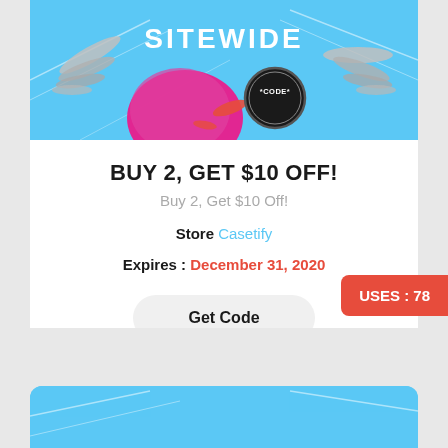[Figure (illustration): Promotional banner with light blue background, the word SITEWIDE in white bold text, a pink/magenta blob shape, decorative wing shapes, red accents, and a black circular badge with *CODE* text]
BUY 2, GET $10 OFF!
Buy 2, Get $10 Off!
Store Casetify
Expires : December 31, 2020
Get Code
USES : 78
[Figure (illustration): Bottom portion of another promotional card with light blue background, partially visible]